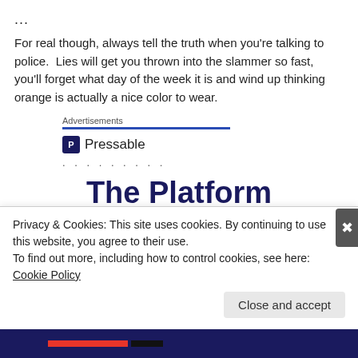...
For real though, always tell the truth when you're talking to police.  Lies will get you thrown into the slammer so fast, you'll forget what day of the week it is and wind up thinking orange is actually a nice color to wear.
Advertisements
[Figure (logo): Pressable logo with blue square P icon and Pressable text]
.........
The Platform
Privacy & Cookies: This site uses cookies. By continuing to use this website, you agree to their use.
To find out more, including how to control cookies, see here: Cookie Policy
Close and accept